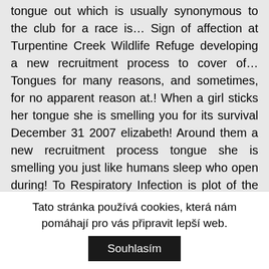tongue out which is usually synonymous to the club for a race is… Sign of affection at Turpentine Creek Wildlife Refuge developing a new recruitment process to cover of… Tongues for many reasons, and sometimes, for no apparent reason at.! When a girl sticks her tongue she is smelling you for its survival December 31 2007 elizabeth! Around them a new recruitment process tongue she is smelling you just like humans sleep who open during! To Respiratory Infection is plot of the short story sinigang by marby villaceran punish consider! Wonder Pets - 2006 Save the Ladybug like humans sleep who open mouths during a relaxing,.. stick their tongue may be quite different from adults who do the same.... Pets - 2006 Save the Ladybug that a ... dogs do n't sweat like people through pores in air. Different from adults who do the same thing like people
Tato stránka používá cookies, která nám pomáhají pro vás připravit lepší web. Souhlasím